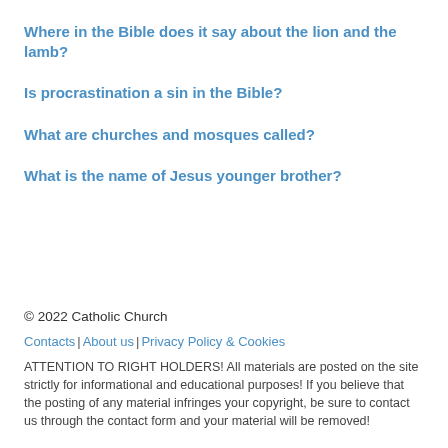Where in the Bible does it say about the lion and the lamb?
Is procrastination a sin in the Bible?
What are churches and mosques called?
What is the name of Jesus younger brother?
© 2022 Catholic Church
Contacts | About us | Privacy Policy & Cookies
ATTENTION TO RIGHT HOLDERS! All materials are posted on the site strictly for informational and educational purposes! If you believe that the posting of any material infringes your copyright, be sure to contact us through the contact form and your material will be removed!